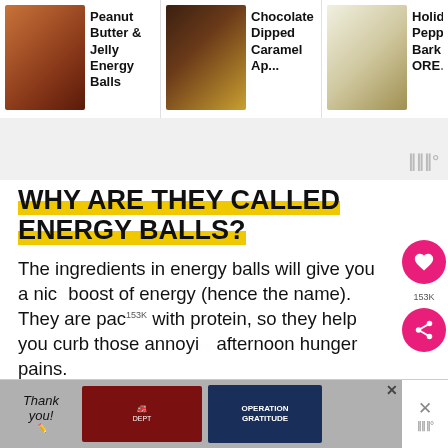[Figure (screenshot): Top navigation bar with three food items: Peanut Butter & Jelly Energy Balls, Chocolate Dipped Caramel Ap..., Holiday Peppermint Bark ORE...]
[Figure (screenshot): Gray advertisement/weather widget area with weather app logo (III°) in bottom right]
WHY ARE THEY CALLED ENERGY BALLS?
The ingredients in energy balls will give you a nice boost of energy (hence the name). They are packed with protein, so they help you curb those annoying afternoon hunger pains.
They make the perfect pick-me-up afternoon snack or
[Figure (screenshot): Bottom advertisement banner: Operation Gratitude thank you ad with firefighters photo]